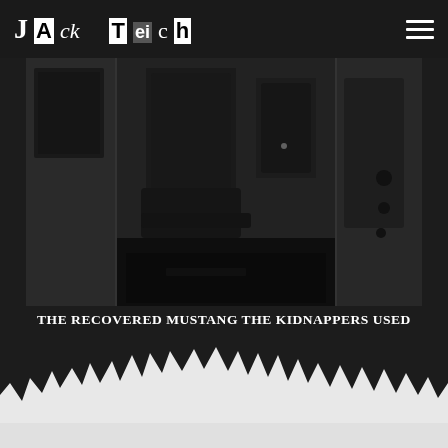Jack Teich
[Figure (photo): Black and white photograph of the interior of a Ford Mustang with the door open, showing the front seats and floor, used by kidnappers to transport Jack Teich.]
THE RECOVERED MUSTANG THE KIDNAPPERS USED TO TRANSPORT JACK TEICH.